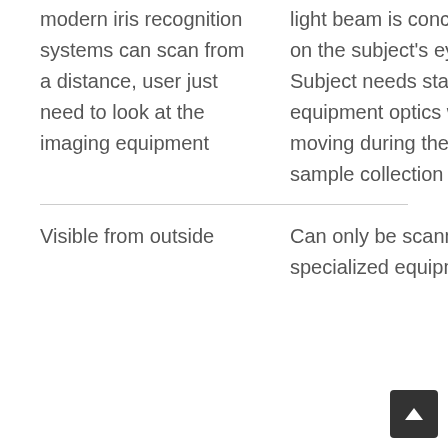| modern iris recognition systems can scan from a distance, user just need to look at the imaging equipment | light beam is concentred on the subject's eye. Subject needs stare at equipment optics without moving during the sample collection |
| Visible from outside | Can only be scanned by specialized equipment |